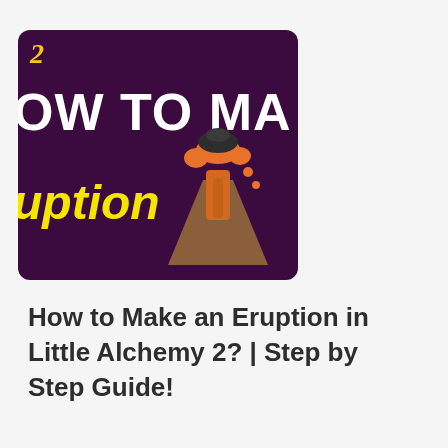[Figure (illustration): Thumbnail image with dark purple background showing partial text 'HOW TO MA' and 'uption' in yellow italic, with a cartoon erupting volcano illustration. A stylized '2' logo appears in yellow at top left.]
How to Make an Eruption in Little Alchemy 2? | Step by Step Guide!